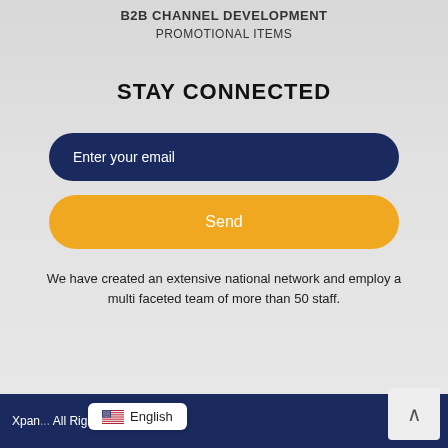B2B CHANNEL DEVELOPMENT
PROMOTIONAL ITEMS
STAY CONNECTED
[Figure (other): Email input field with dark navy rounded rectangle and 'Enter your email' placeholder text]
[Figure (other): Send button with golden/amber rounded rectangle and 'Send' label in white]
We have created an extensive national network and employ a multi faceted team of more than 50 staff.
Xpan... All Right Reserved by us